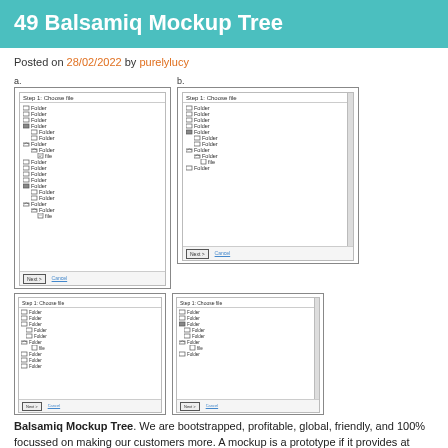49 Balsamiq Mockup Tree
Posted on 28/02/2022 by purelylucy
[Figure (screenshot): Balsamiq mockup wireframe showing a tree/folder file chooser dialog (a) - large version with scrollable list]
[Figure (screenshot): Balsamiq mockup wireframe showing a tree/folder file chooser dialog (b) - version with visible scrollbar on right]
[Figure (screenshot): Balsamiq mockup wireframe showing a tree/folder file chooser dialog - smaller version c]
[Figure (screenshot): Balsamiq mockup wireframe showing a tree/folder file chooser dialog - smaller version d]
Balsamiq Mockup Tree. We are bootstrapped, profitable, global, friendly, and 100% focussed on making our customers more. A mockup is a prototype if it provides at least part of the functionality of a system and enables testing of a